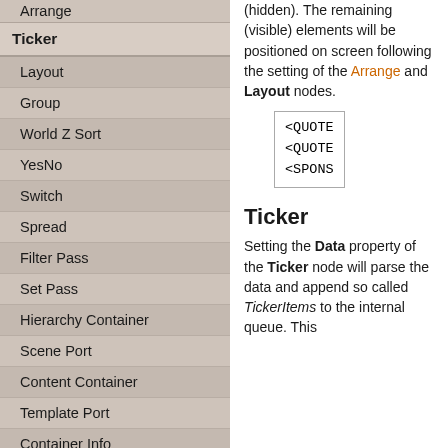Arrange
Ticker
Layout
Group
World Z Sort
YesNo
Switch
Spread
Filter Pass
Set Pass
Hierarchy Container
Scene Port
Content Container
Template Port
Container Info
Camera
Paths
(hidden). The remaining (visible) elements will be positioned on screen following the setting of the Arrange and Layout nodes.
[Figure (other): Code box showing three lines: <QUOTE, <QUOTE, <SPONS]
Ticker
Setting the Data property of the Ticker node will parse the data and append so called TickerItems to the internal queue. This